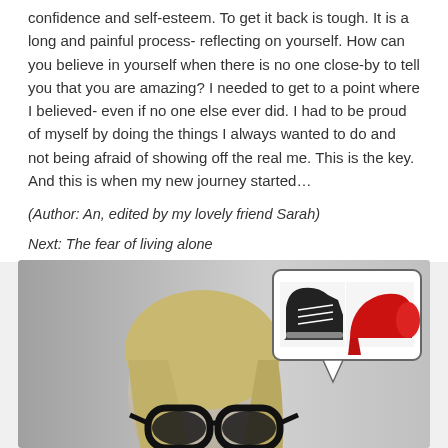confidence and self-esteem. To get it back is tough. It is a long and painful process- reflecting on yourself. How can you believe in yourself when there is no one close-by to tell you that you are amazing? I needed to get to a point where I believed- even if no one else ever did. I had to be proud of myself by doing the things I always wanted to do and not being afraid of showing off the real me. This is the key. And this is when my new journey started...
(Author: An, edited by my lovely friend Sarah)
Next: The fear of living alone
[Figure (photo): Black and white photo of a woman with blonde hair wearing large black-framed glasses, looking down. In the upper right is a speech bubble graphic showing a black sneaker and a red high-heel shoe side by side.]